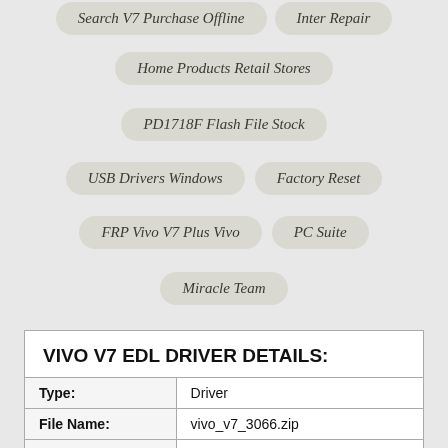Search V7 Purchase Offline   Inter Repair
Home Products Retail Stores
PD1718F Flash File Stock
USB Drivers Windows   Factory Reset
FRP Vivo V7 Plus Vivo   PC Suite
Miracle Team
| VIVO V7 EDL DRIVER DETAILS: |
| Type: | Driver |
| File Name: | vivo_v7_3066.zip |
| File Size: | 4.4 MB |